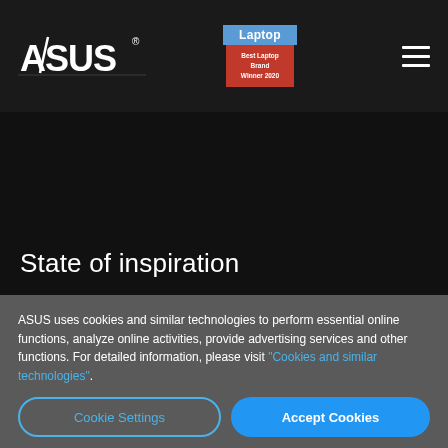[Figure (logo): ASUS logo in white on dark navigation bar, with Laptop Magazine Best Laptop Brand Winner 2020 award badge]
State of inspiration
ASUS uses cookies and similar technologies to perform essential online functions, analyze online activities, provide advertising services and other functions. For detailed information, please visit "Cookies and similar technologies".